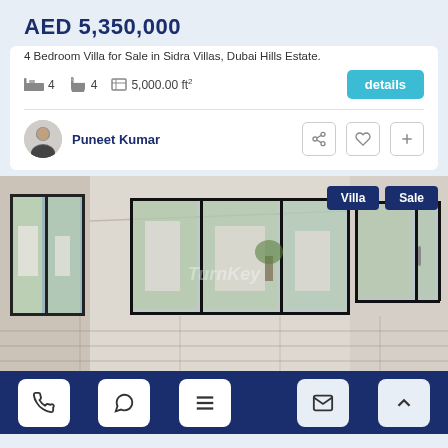AED 5,350,000
4 Bedroom Villa for Sale in Sidra Villas, Dubai Hills Estate.
4 bedrooms  4 bathrooms  5,000.00 ft²  details
Puneet Kumar
[Figure (photo): Interior photo of a villa living area with large sliding glass doors and windows, open plan space with natural light. Watermark text partially visible. Badges: Villa, Sale.]